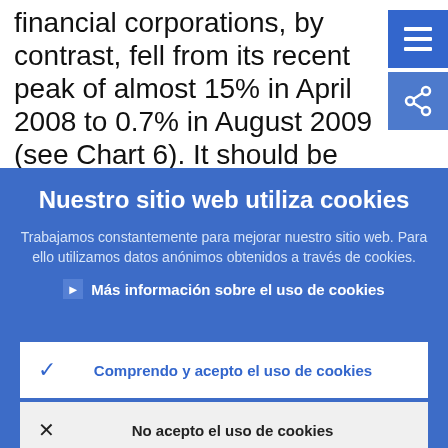financial corporations, by contrast, fell from its recent peak of almost 15% in April 2008 to 0.7% in August 2009 (see Chart 6). It should be noted that these figures cover all non-financial corporations, small, medium-
Nuestro sitio web utiliza cookies
Trabajamos constantemente para mejorar nuestro sitio web. Para ello utilizamos datos anónimos obtenidos a través de cookies.
▶ Más información sobre el uso de cookies
✓ Comprendo y acepto el uso de cookies
✗ No acepto el uso de cookies